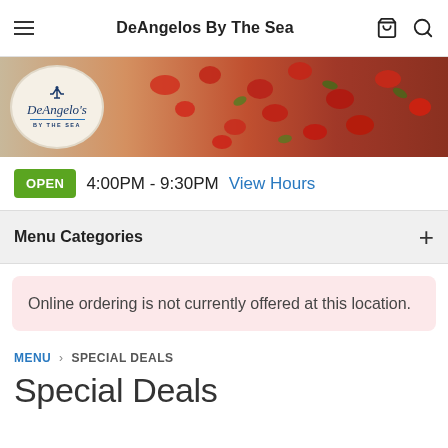DeAngelos By The Sea
[Figure (photo): Banner image showing DeAngelo's By The Sea restaurant logo on left (oval with script text and anchor icon) and a pizza with red tomato toppings on the right]
OPEN  4:00PM - 9:30PM  View Hours
Menu Categories
Online ordering is not currently offered at this location.
MENU > SPECIAL DEALS
Special Deals